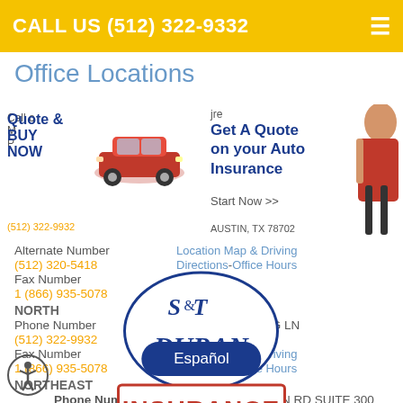CALL US (512) 322-9332
Office Locations
[Figure (infographic): Advertisement banner with text 'Quote & BUY NOW' and image of a red car]
[Figure (infographic): Advertisement banner with text 'Get A Quote on your Auto Insurance' and photo of woman]
[Figure (logo): S&T Duran Insurance logo - oval with S&T DURAN text and rectangle with INSURANCE text]
Alternate Number
(512) 320-5418
Fax Number
1 (866) 935-5078
NORTH
Phone Number
105 E RUNDBERG LN
(512) 322-9932
AUSTIN, TX 78753
Fax Number
Location Map & Driving
1 (866) 935-5078
Directions - Office Hours
NORTHEAST
Phone Number
7517 CAMERON RD SUITE 300
(512) 322-9332
AUSTIN, TX 78752
Fax Number
Location Map & Driving
1 (866) 935-5078
Directions - Office Hours